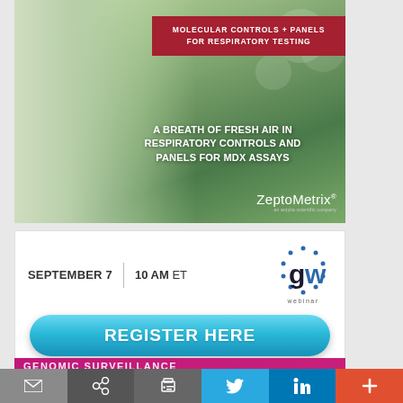[Figure (photo): ZeptoMetrix advertisement: woman breathing fresh air outdoors with green bokeh background, red banner reading 'Molecular Controls + Panels for Respiratory Testing', overlay text 'A Breath of Fresh Air in Respiratory Controls and Panels for MDX Assays', ZeptoMetrix logo at bottom right]
MOLECULAR CONTROLS + PANELS FOR RESPIRATORY TESTING
A BREATH OF FRESH AIR IN RESPIRATORY CONTROLS AND PANELS FOR MDX ASSAYS
ZeptoMetrix® an antylia scientific company
[Figure (infographic): Webinar registration box: SEPTEMBER 7 | 10 AM ET with GW Webinar logo and REGISTER HERE button in blue gradient]
SEPTEMBER 7  |  10 AM ET
REGISTER HERE
GENOMIC SURVEILLANCE